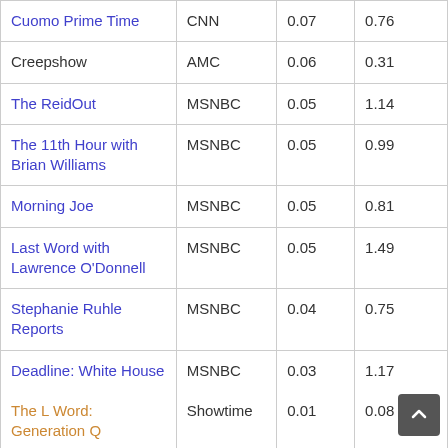| Show | Network | Col3 | Col4 |
| --- | --- | --- | --- |
| Cuomo Prime Time | CNN | 0.07 | 0.76 |
| Creepshow | AMC | 0.06 | 0.31 |
| The ReidOut | MSNBC | 0.05 | 1.14 |
| The 11th Hour with Brian Williams | MSNBC | 0.05 | 0.99 |
| Morning Joe | MSNBC | 0.05 | 0.81 |
| Last Word with Lawrence O'Donnell | MSNBC | 0.05 | 1.49 |
| Stephanie Ruhle Reports | MSNBC | 0.04 | 0.75 |
| Deadline: White House | MSNBC | 0.03 | 1.17 |
| The L Word: Generation Q | Showtime | 0.01 | 0.08 |